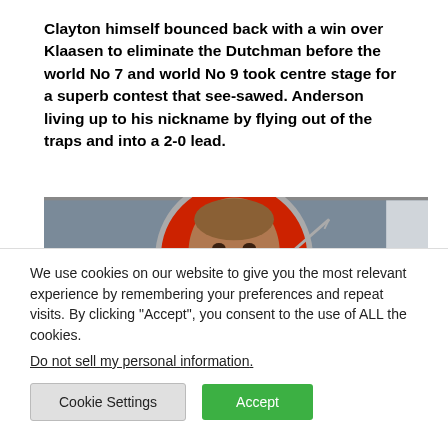Clayton himself bounced back with a win over Klaasen to eliminate the Dutchman before the world No 7 and world No 9 took centre stage for a superb contest that see-sawed. Anderson living up to his nickname by flying out of the traps and into a 2-0 lead.
[Figure (photo): Close-up photo of a man's face against a red circular background, appearing to be a darts player or sports personality.]
We use cookies on our website to give you the most relevant experience by remembering your preferences and repeat visits. By clicking "Accept", you consent to the use of ALL the cookies.
Do not sell my personal information.
Cookie Settings | Accept